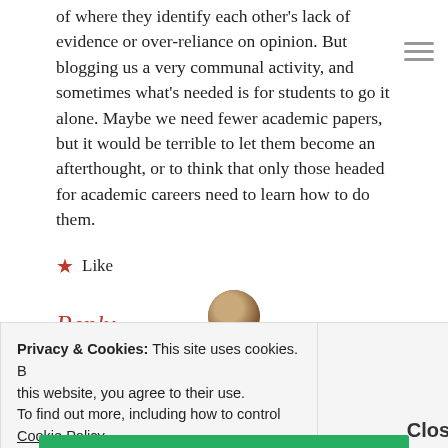of where they identify each other's lack of evidence or over-reliance on opinion. But blogging us a very communal activity, and sometimes what's needed is for students to go it alone. Maybe we need fewer academic papers, but it would be terrible to let them become an afterthought, or to think that only those headed for academic careers need to learn how to do them.
★ Like
Reply
Privacy & Cookies: This site uses cookies. By continuing to use this website, you agree to their use. To find out more, including how to control cookies, see here: Cookie Policy
Close and accept